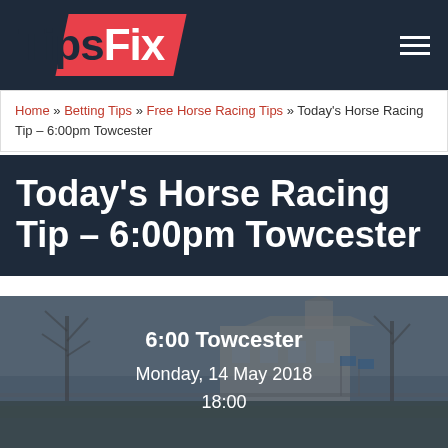TipsFix
Home » Betting Tips » Free Horse Racing Tips » Today's Horse Racing Tip – 6:00pm Towcester
Today's Horse Racing Tip – 6:00pm Towcester
[Figure (photo): Towcester racecourse building with bare trees and flags, overcast day, overlaid with race details: 6:00 Towcester, Monday, 14 May 2018, 18:00]